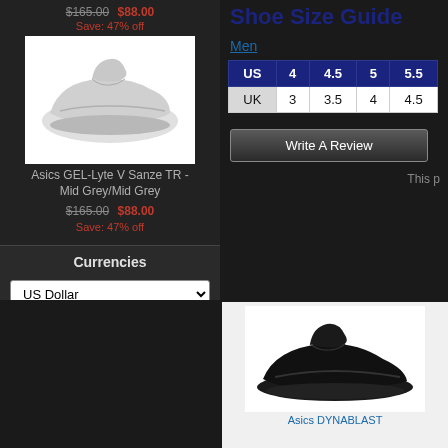$165.00  $88.00  Save: 47% off
[Figure (photo): Asics GEL-Lyte V Sanze TR sneaker in Mid Grey/Mid Grey colorway on white background]
Asics GEL-Lyte V Sanze TR - Mid Grey/Mid Grey
$165.00  $88.00
Save: 47% off
Currencies
US Dollar
Shoe Size Guide
Men
| US | 4 | 4.5 | 5 | 5.5 |
| --- | --- | --- | --- | --- |
| UK | 3 | 3.5 | 4 | 4.5 |
Write A Review
This p
[Figure (photo): Asics DYNABLAST running shoe in black colorway on white background]
Asics DYNABLAST